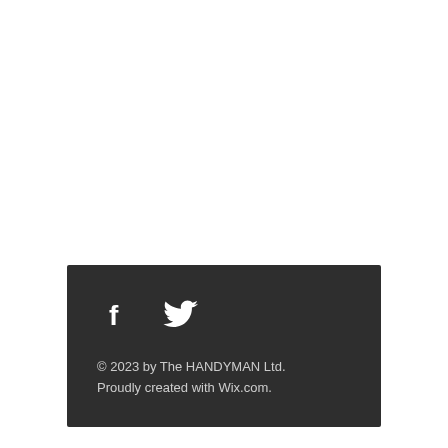© 2023 by The HANDYMAN Ltd.
Proudly created with Wix.com.